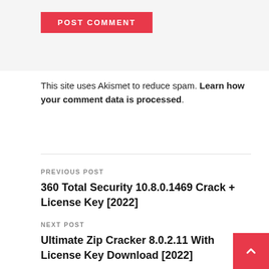[Figure (other): POST COMMENT button — red background with white uppercase bold text]
This site uses Akismet to reduce spam. Learn how your comment data is processed.
PREVIOUS POST
360 Total Security 10.8.0.1469 Crack + License Key [2022]
NEXT POST
Ultimate Zip Cracker 8.0.2.11 With License Key Download [2022]